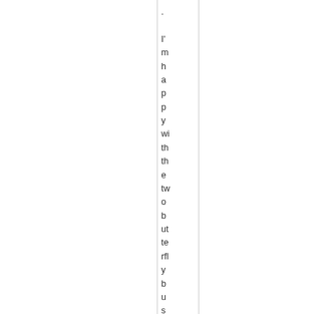. I'm happy with the two butterfly bushes – the o...